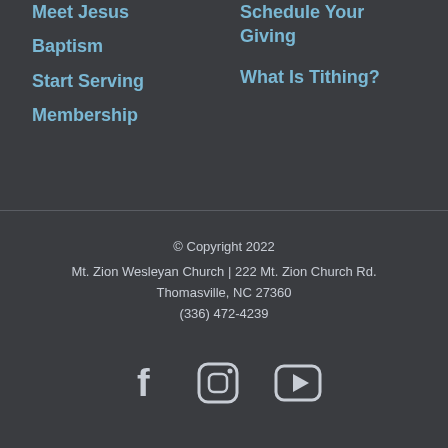Meet Jesus
Baptism
Start Serving
Membership
Schedule Your Giving
What Is Tithing?
© Copyright 2022
Mt. Zion Wesleyan Church | 222 Mt. Zion Church Rd.
Thomasville, NC 27360
(336) 472-4239
[Figure (other): Social media icons: Facebook, Instagram, YouTube]